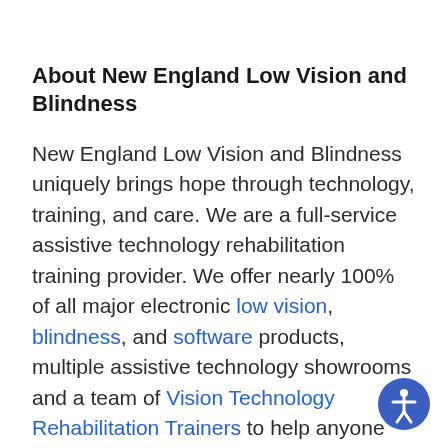About New England Low Vision and Blindness
New England Low Vision and Blindness uniquely brings hope through technology, training, and care. We are a full-service assistive technology rehabilitation training provider. We offer nearly 100% of all major electronic low vision, blindness, and software products, multiple assistive technology showrooms and a team of Vision Technology Rehabilitation Trainers to help anyone who is visually impaired